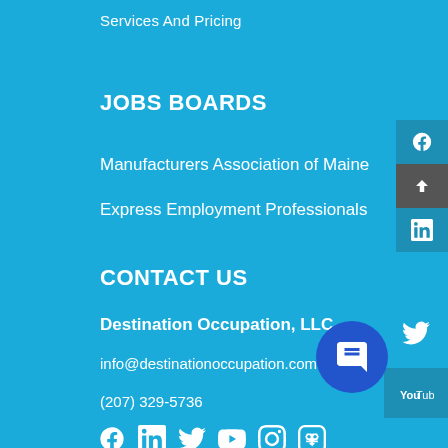Services And Pricing
JOBS BOARDS
Manufacturers Association of Maine
Express Employment Professionals
CONTACT US
Destination Occupation, LLC
info@destinationoccupation.com
(207) 329-5736
[Figure (infographic): Social media icons row: Facebook, LinkedIn, Twitter, YouTube, Instagram, and another icon]